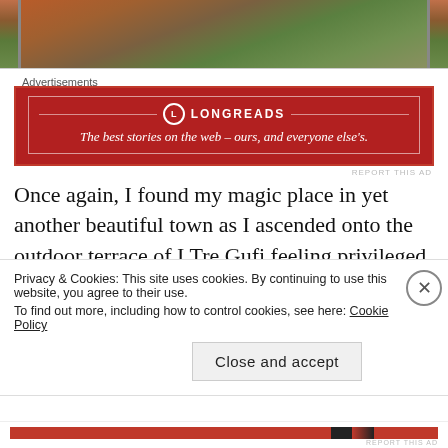[Figure (photo): Aerial or elevated view of a town with red/terracotta roof tiles and green trees/hills in the background, partially cropped at the top of the page.]
Advertisements
[Figure (logo): Longreads advertisement banner with red background. Logo circle with 'L', brand name 'LONGREADS', and tagline: The best stories on the web – ours, and everyone else's.]
Once again, I found my magic place in yet another beautiful town as I ascended onto the outdoor terrace of I Tre Gufi feeling privileged as though I were entering the Gates of Heaven.
Privacy & Cookies: This site uses cookies. By continuing to use this website, you agree to their use.
To find out more, including how to control cookies, see here: Cookie Policy
Close and accept